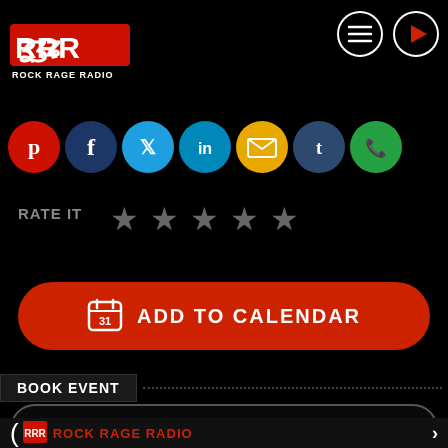[Figure (logo): Rock Rage Radio logo with stylized RRR letters and text 'ROCK RAGE RADIO' below]
[Figure (screenshot): Header navigation icons: hamburger menu circle and play button circle]
[Figure (screenshot): Social media share icons row: Pinterest (red), Facebook (dark blue), Twitter (blue), LinkedIn (light blue), Email (yellow), Tumblr (dark blue), WhatsApp (green)]
RATE IT
[Figure (infographic): Five star rating icons (empty/gray stars)]
[Figure (infographic): Red rounded button with calendar icon and text: ADD TO CALENDAR]
BOOK EVENT
GET TICKETS
ROCK RAGE RADIO